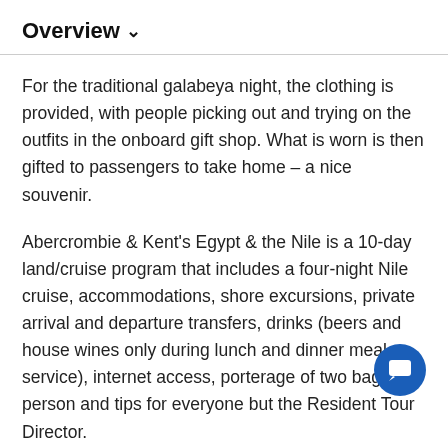Overview ∨
For the traditional galabeya night, the clothing is provided, with people picking out and trying on the outfits in the onboard gift shop. What is worn is then gifted to passengers to take home – a nice souvenir.
Abercrombie & Kent's Egypt & the Nile is a 10-day land/cruise program that includes a four-night Nile cruise, accommodations, shore excursions, private arrival and departure transfers, drinks (beers and house wines only during lunch and dinner meal service), internet access, porterage of two bags per person and tips for everyone but the Resident Tour Director.